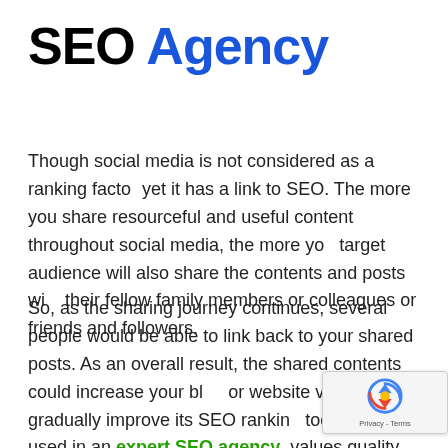SEO Agency
Though social media is not considered as a ranking factor, yet it has a link to SEO. The more you share resourceful and useful content throughout social media, the more your target audience will also share the contents and posts with their fellow family members or colleagues or friends and followers.
So, as the sharing journey continues, several people would be able to link back to your shared posts. As an overall result, the shared contents could increase your blog or website visibility and gradually improve its SEO ranking too. It could be used in an expert SEO agency values quality back links and considers them as